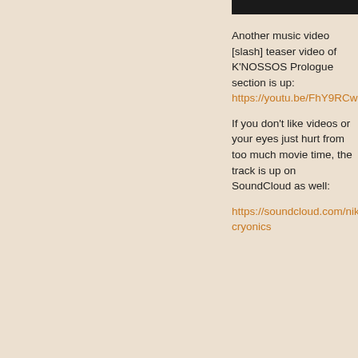[Figure (screenshot): Black video thumbnail bar at top right]
Another music video [slash] teaser video of K'NOSSOS Prologue section is up: https://youtu.be/FhY9RCwJDd
If you don't like videos or your eyes just hurt from too much movie time, the track is up on SoundCloud as well: https://soundcloud.com/nikolap cryonics
Logged
SvarunGames
Occasional poster
Karma: 0
Offline
Posts: 51
Re: K'nossos, a Point n' Click Adventure Title by Svarun Games « Reply #5 on: December 08, 2016, 12:40:05